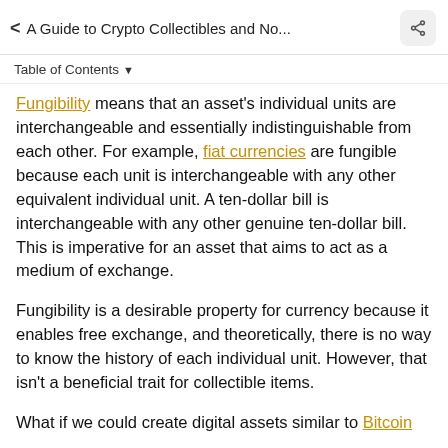< A Guide to Crypto Collectibles and No...
Table of Contents
Fungibility means that an asset's individual units are interchangeable and essentially indistinguishable from each other. For example, fiat currencies are fungible because each unit is interchangeable with any other equivalent individual unit. A ten-dollar bill is interchangeable with any other genuine ten-dollar bill. This is imperative for an asset that aims to act as a medium of exchange.
Fungibility is a desirable property for currency because it enables free exchange, and theoretically, there is no way to know the history of each individual unit. However, that isn't a beneficial trait for collectible items.
What if we could create digital assets similar to Bitcoin